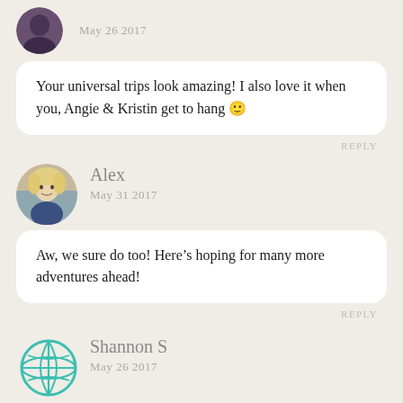[Figure (photo): Partial avatar photo at top left, dark purple/teal tones, person visible]
May 26 2017
Your universal trips look amazing! I also love it when you, Angie & Kristin get to hang 🙂
REPLY
[Figure (photo): Circular avatar photo of Alex - blonde woman smiling]
Alex
May 31 2017
Aw, we sure do too! Here's hoping for many more adventures ahead!
REPLY
[Figure (illustration): Teal globe/world icon for Shannon S commenter avatar]
Shannon S
May 26 2017